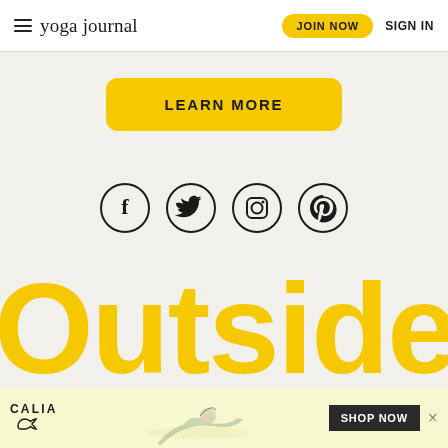yoga journal | JOIN NOW | SIGN IN
LEARN MORE
[Figure (other): Social media icons in circles: Facebook, Twitter, Instagram, Pinterest]
Outside
[Figure (other): CALIA advertisement banner with woman doing yoga pose and SHOP NOW button]